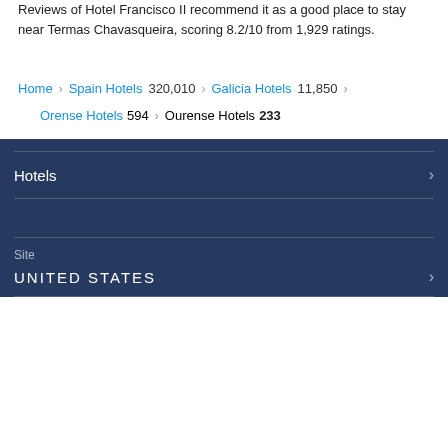Reviews of Hotel Francisco II recommend it as a good place to stay near Termas Chavasqueira, scoring 8.2/10 from 1,929 ratings.
Home › Spain Hotels 320,010 › Galicia Hotels 11,850 › Orense Hotels 594 › Ourense Hotels 233
Hotels
Site
UNITED STATES